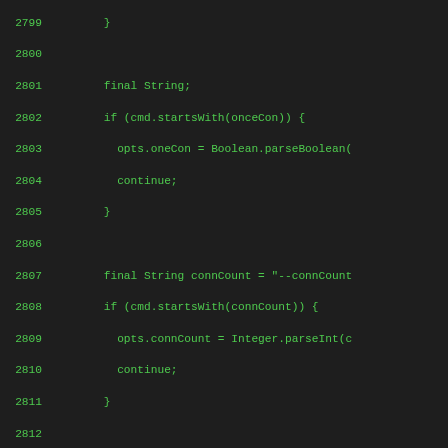[Figure (screenshot): Code editor screenshot showing Java source code lines 2799-2827, with green monospace text on dark background. The code shows string variable declarations and if-statements for parsing command-line options including onceCon, connCount, latencyThreshold, latency, and multiGet.]